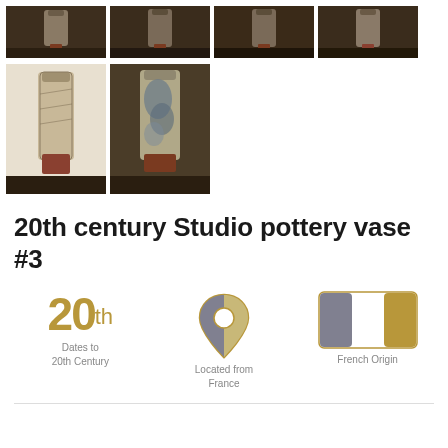[Figure (photo): Four thumbnail photos of a studio pottery vase showing different angles, top row]
[Figure (photo): Two larger thumbnail photos of a studio pottery vase, bottom row]
20th century Studio pottery vase #3
[Figure (infographic): Three icons: '20th' dates to 20th Century, location pin 'Located from France', color swatches 'French Origin']